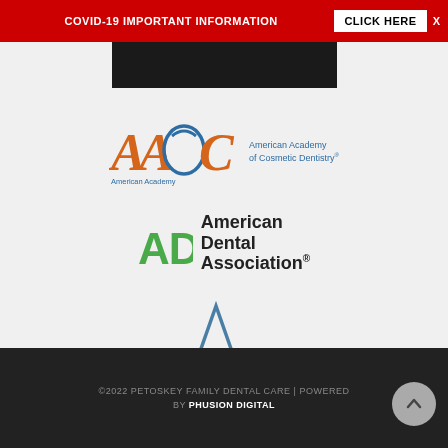COVID-19 IMPORTANT INFORMATION   CLICK HERE   X
[Figure (logo): Partial dark image strip at top]
[Figure (logo): American Academy of Cosmetic Dentistry (AACD) logo with orange/teal swooping letters and blue text]
[Figure (logo): ADA American Dental Association logo with green ADA text and black stacked text]
[Figure (logo): Academy of General Dentistry MEMBER logo with blue triangle/A shape and blue text]
©2022 PETOSKEY FAMILY DENTAL CARE | POWERED BY PHUSION DIGITAL